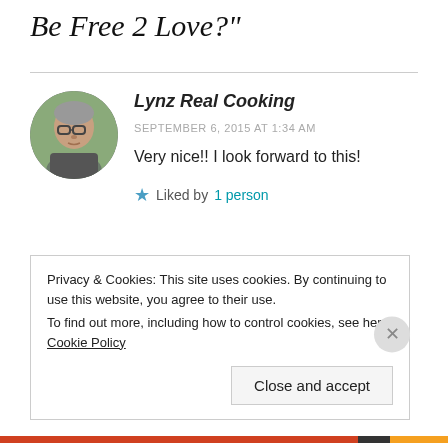Be Free 2 Love?"
[Figure (photo): Circular avatar photo of a woman with glasses and grey hair, outdoors]
Lynz Real Cooking
SEPTEMBER 6, 2015 AT 1:34 AM
Very nice!! I look forward to this!
Liked by 1 person
Privacy & Cookies: This site uses cookies. By continuing to use this website, you agree to their use. To find out more, including how to control cookies, see here: Cookie Policy
Close and accept